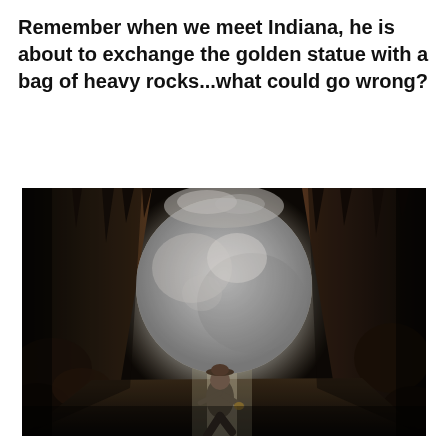Remember when we meet Indiana, he is about to exchange the golden statue with a bag of heavy rocks...what could go wrong?
[Figure (photo): Movie still from Raiders of the Lost Ark showing Indiana Jones running from a large boulder inside a dark cave tunnel, with stalactites visible and bright light illuminating the massive round boulder behind him.]